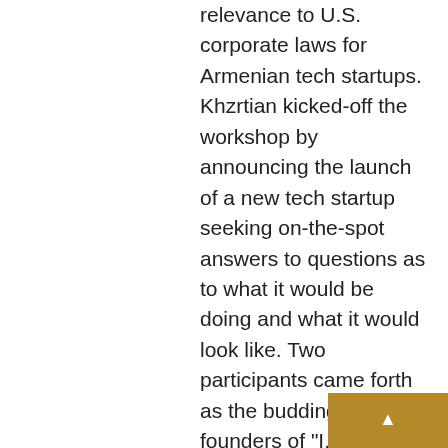relevance to U.S. corporate laws for Armenian tech startups. Khzrtian kicked-off the workshop by announcing the launch of a new tech startup seeking on-the-spot answers to questions as to what it would be doing and what it would look like. Two participants came forth as the budding startup founders of "I.F.Car, Inc.," a Delaware C-Corp. "We will be engaged in promoting innovation through seminars and trainings," said one founder, "... and invent flying cars in the process through cutting-edge research!" added the other founder. Seated on opposite sides of the hall, these two founders were just meeting each other on the spot. A corporate